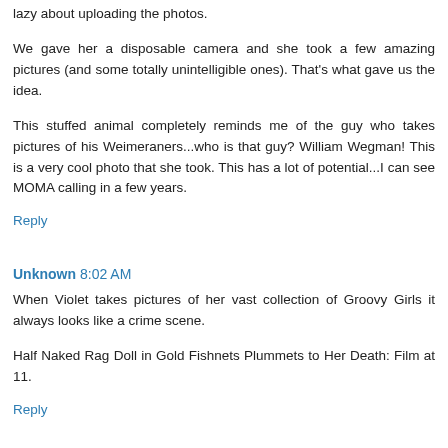lazy about uploading the photos.
We gave her a disposable camera and she took a few amazing pictures (and some totally unintelligible ones). That's what gave us the idea.
This stuffed animal completely reminds me of the guy who takes pictures of his Weimeraners...who is that guy? William Wegman! This is a very cool photo that she took. This has a lot of potential...I can see MOMA calling in a few years.
Reply
Unknown 8:02 AM
When Violet takes pictures of her vast collection of Groovy Girls it always looks like a crime scene.
Half Naked Rag Doll in Gold Fishnets Plummets to Her Death: Film at 11.
Reply